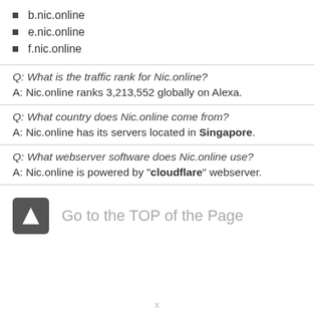b.nic.online
e.nic.online
f.nic.online
Q: What is the traffic rank for Nic.online?
A: Nic.online ranks 3,213,552 globally on Alexa.
Q: What country does Nic.online come from?
A: Nic.online has its servers located in Singapore.
Q: What webserver software does Nic.online use?
A: Nic.online is powered by "cloudflare" webserver.
Go to the TOP of the Page